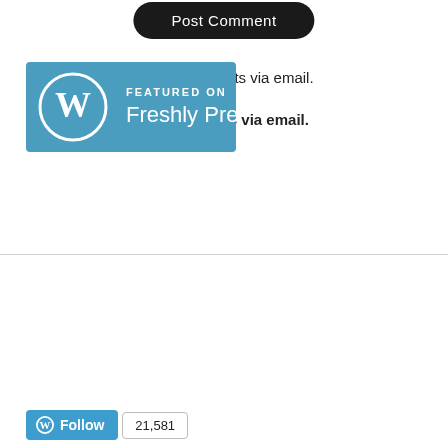[Figure (other): Post Comment button — dark rounded rectangle with white text]
Notify me of new comments via email.
Notify me of new posts via email.
[Figure (logo): Featured on Freshly Pressed WordPress badge — blue rectangle with WordPress W logo and text 'FEATURED ON Freshly Pressed']
[Figure (other): WordPress Follow button with count 21,581]